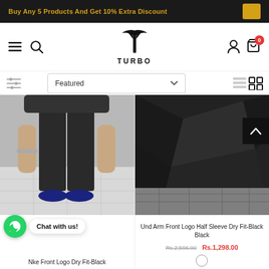Buy Any 5 Products And Get 10% Extra Discount
[Figure (logo): Turbo brand logo with stylized T emblem and TURBO text]
[Figure (screenshot): Filter/sort row with sliders icon, Featured dropdown, list/grid view icons]
[Figure (photo): Product photo: man wearing dark tracksuit pants - Nke Front Logo Dry Fit-Black]
Nke Front Logo Dry Fit-Black
[Figure (photo): Product photo: close-up of black dry-fit fabric garment - Und Arm Front Logo Half Sleeve Dry Fit-Black Black]
Und Arm Front Logo Half Sleeve Dry Fit-Black Black
Rs.2,596.00 Rs.1,298.00